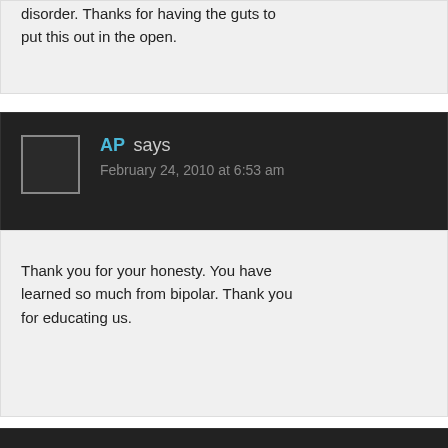disorder. Thanks for having the guts to put this out in the open.
AP says
February 24, 2010 at 6:53 am
Thank you for your honesty. You have learned so much from bipolar. Thank you for educating us.